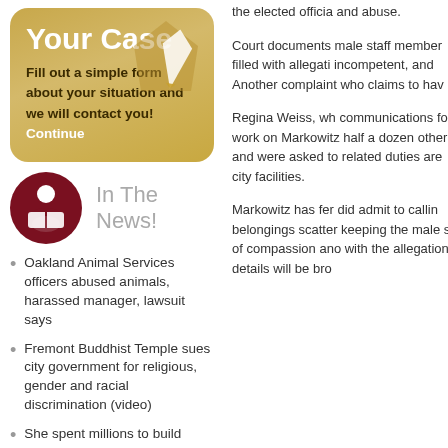Your Case
Fill out a simple form about your situation and we will contact you! Continue
In The News!
Oakland Animal Services officers abused animals, harassed manager, lawsuit says
Fremont Buddhist Temple sues city government for religious, gender and racial discrimination (video)
She spent millions to build 'cultural work of art.' Now she says Fremont wants it torn down.
Fremont Buddhist Temple To File Civil
the elected officia and abuse.
Court documents male staff member filled with allegati incompetent, and Another complaint who claims to hav
Regina Weiss, wh communications fo work on Markowitz half a dozen other and were asked to related duties are city facilities.
Markowitz has fer did admit to callin belongings scatter keeping the male s of compassion ano with the allegation details will be bro